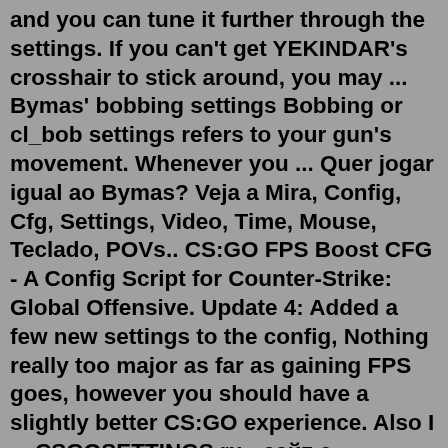and you can tune it further through the settings. If you can't get YEKINDAR's crosshair to stick around, you may ... Bymas' bobbing settings Bobbing or cl_bob settings refers to your gun's movement. Whenever you ... Quer jogar igual ao Bymas? Veja a Mira, Config, Cfg, Settings, Video, Time, Mouse, Teclado, POVs.. CS:GO FPS Boost CFG - A Config Script for Counter-Strike: Global Offensive. Update 4: Added a few new settings to the config, Nothing really too major as far as gaining FPS goes, however you should have a slightly better CS:GO experience. Also I ... CSGOSETTINGS.ru - сайт с настройками, конфигами и прицелами игроков CS:GO. На сайте cs go settings ru можно найти конфиги про кс го игроков, cfg pro csgo, прицелы про игроков, полезные гайды и бинды в ксго. Generate your own crosshair or browse 110 professional CS:GO players' crosshair settings. Find your favourite!Aurimas Pipiras "Bymas" Settings & Gear. Real Name Aurimas Pipiras Age 18 Clan MOUZ Country Lithuania. Next Match. Heroic prediction 59% 41%